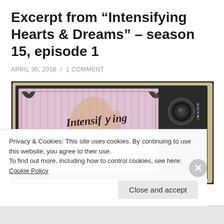Excerpt from “Intensifying Hearts & Dreams” – season 15, episode 1
APRIL 30, 2016  /  1 COMMENT
[Figure (photo): Vintage-style television set displaying the title 'Intensifying Hearts &' on a pink/pastel screen with decorative floral corner elements, with control knobs on the right side.]
Privacy & Cookies: This site uses cookies. By continuing to use this website, you agree to their use.
To find out more, including how to control cookies, see here: Cookie Policy
Close and accept